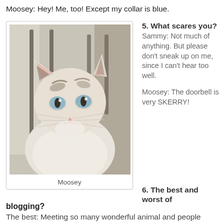Moosey: Hey! Me, too! Except my collar is blue.
[Figure (photo): Close-up photo of a white cat named Moosey with blue eyes, dark markings above the eyes, sitting on a fluffy surface, with cage bars visible in the background.]
Moosey
5. What scares you?
Sammy: Not much of anything. But please don't sneak up on me, since I can't hear too well.

Moosey: The doorbell is very SKERRY!
6. The best and worst of blogging?
The best: Meeting so many wonderful animal and people friends around the world